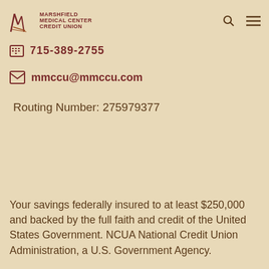MARSHFIELD MEDICAL CENTER CREDIT UNION
715-389-2755
mmccu@mmccu.com
Routing Number: 275979377
Your savings federally insured to at least $250,000 and backed by the full faith and credit of the United States Government. NCUA National Credit Union Administration, a U.S. Government Agency.